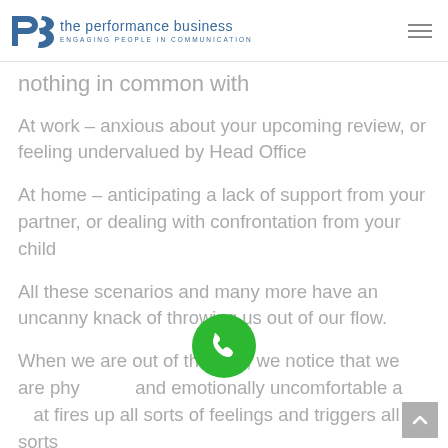PB the performance business ENGAGING PEOPLE IN COMMUNICATION
nothing in common with
At work – anxious about your upcoming review, or feeling undervalued by Head Office
At home – anticipating a lack of support from your partner, or dealing with confrontation from your child
All these scenarios and many more have an uncanny knack of throwing us out of our flow.
When we are out of the flow, we notice that we are physically and emotionally uncomfortable and that fires up all sorts of feelings and triggers all sorts